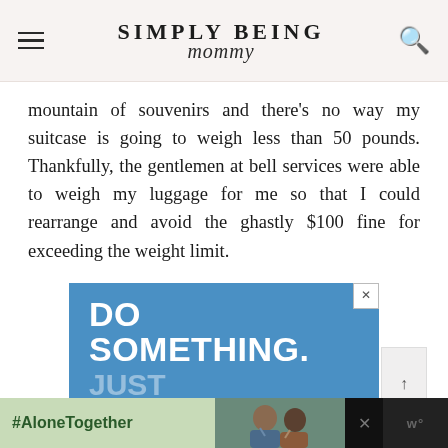SIMPLY BEING mommy
mountain of souvenirs and there's no way my suitcase is going to weigh less than 50 pounds. Thankfully, the gentlemen at bell services were able to weigh my luggage for me so that I could rearrange and avoid the ghastly $100 fine for exceeding the weight limit.
[Figure (screenshot): Advertisement banner with blue background showing text 'DO SOMETHING. JUST' in bold white and semi-transparent white letters]
[Figure (screenshot): Bottom banner advertisement with green background showing '#AloneTogether' text and a photo of two people]